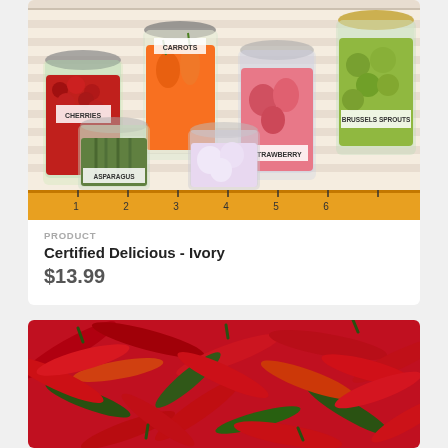[Figure (photo): Product image of fabric with illustrated canning jars containing cherries, carrots, strawberry, asparagus, Brussels sprouts and other preserved vegetables, arranged on a wooden shelf background with a ruler at the bottom]
PRODUCT
Certified Delicious - Ivory
$13.99
[Figure (photo): Product image of fabric showing a dense pile of red and green chili peppers]